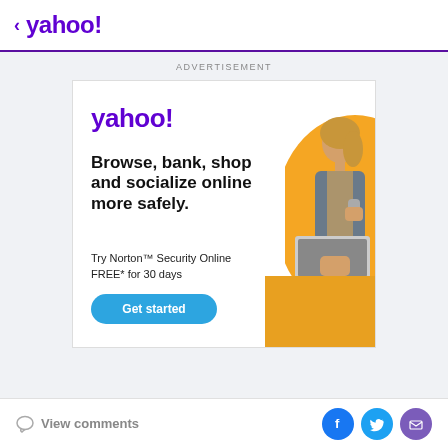< yahoo!
ADVERTISEMENT
[Figure (screenshot): Yahoo/Norton advertisement banner showing Yahoo logo, text 'Browse, bank, shop and socialize online more safely. Try Norton™ Security Online FREE* for 30 days', a 'Get started' blue button, and a photo of a woman using a laptop at a yellow table with a yellow curved background graphic.]
View comments